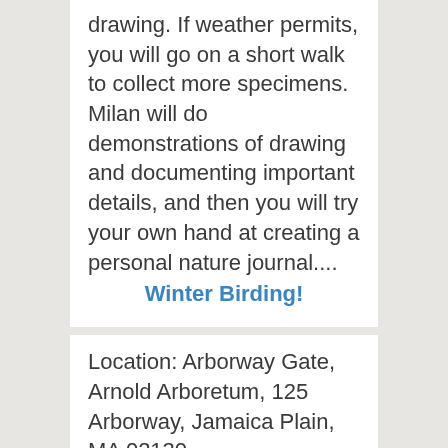drawing. If weather permits, you will go on a short walk to collect more specimens. Milan will do demonstrations of drawing and documenting important details, and then you will try your own hand at creating a personal nature journal....
Winter Birding!
Location: Arborway Gate, Arnold Arboretum, 125 Arborway, Jamaica Plain, MA 02130
Start your new year off on an easy 90-minute walk from the Arboretum's main Arborway Gate to the ponds and back. Our docent and